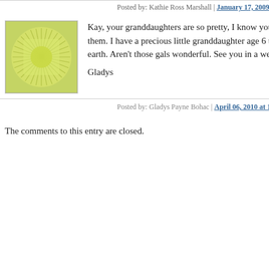Posted by: Kathie Ross Marshall | January 17, 2009 at 07:16 PM
[Figure (illustration): Green/yellow square avatar icon with radial sunburst or leaf pattern]
Kay, your granddaughters are so pretty, I know you must be so proud of them. I have a precious little granddaughter age 6 that is my little angel on earth. Aren't those gals wonderful. See you in a week at the reunion.

Gladys
Posted by: Gladys Payne Bohac | April 06, 2010 at 10:12 PM
The comments to this entry are closed.
laugh attrac open follow
50TH MORN
[Figure (photo): Photo of a person, partially visible, appears to be a woman]
but al next t on th (capti
CRIDE BLUE
[Figure (photo): Photo of bluebonnets flowers]